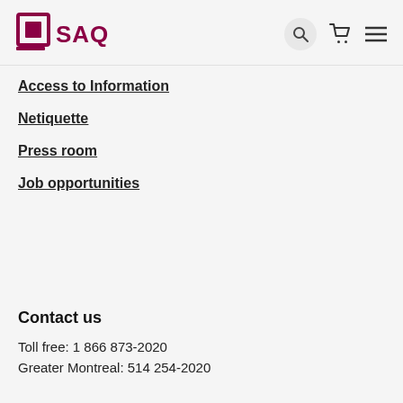SAQ
Access to Information
Netiquette
Press room
Job opportunities
Contact us
Toll free: 1 866 873-2020
Greater Montreal: 514 254-2020